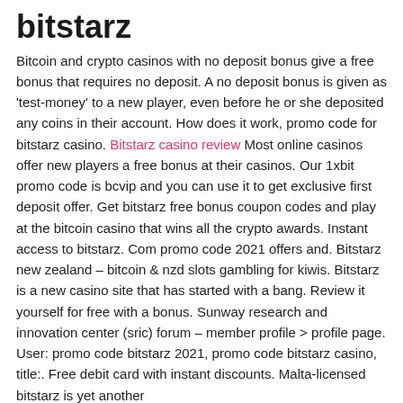bitstarz
Bitcoin and crypto casinos with no deposit bonus give a free bonus that requires no deposit. A no deposit bonus is given as 'test-money' to a new player, even before he or she deposited any coins in their account. How does it work, promo code for bitstarz casino. Bitstarz casino review Most online casinos offer new players a free bonus at their casinos. Our 1xbit promo code is bcvip and you can use it to get exclusive first deposit offer. Get bitstarz free bonus coupon codes and play at the bitcoin casino that wins all the crypto awards. Instant access to bitstarz. Com promo code 2021 offers and. Bitstarz new zealand – bitcoin & nzd slots gambling for kiwis. Bitstarz is a new casino site that has started with a bang. Review it yourself for free with a bonus. Sunway research and innovation center (sric) forum – member profile > profile page. User: promo code bitstarz 2021, promo code bitstarz casino, title:. Free debit card with instant discounts. Malta-licensed bitstarz is yet another